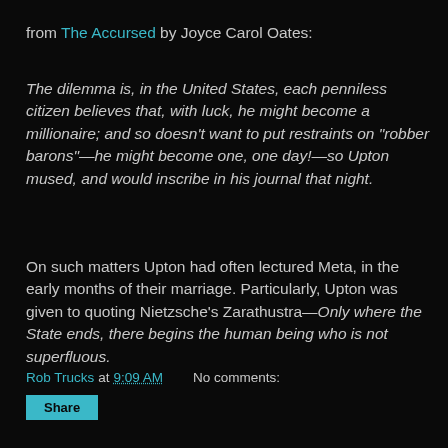from The Accursed by Joyce Carol Oates:
The dilemma is, in the United States, each penniless citizen believes that, with luck, he might become a millionaire; and so doesn’t want to put restraints on “robber barons”—he might become one, one day!—so Upton mused, and would inscribe in his journal that night.
On such matters Upton had often lectured Meta, in the early months of their marriage. Particularly, Upton was given to quoting Nietzsche’s Zarathustra—Only where the State ends, there begins the human being who is not superfluous.
Rob Trucks at 9:09 AM   No comments: